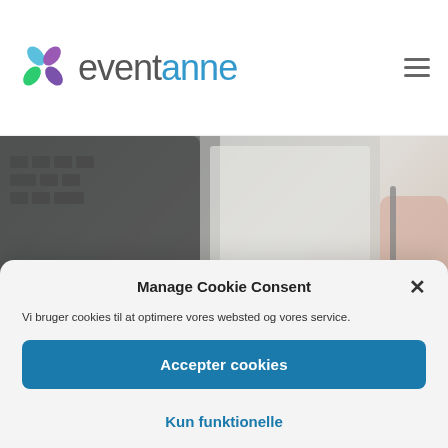[Figure (logo): Eventanne logo with colorful flower/petal icon and wordmark 'eventanne' in gray and blue]
[Figure (photo): Background photo of laptop keyboard and someone writing, partially visible behind cookie consent modal]
Manage Cookie Consent
Vi bruger cookies til at optimere vores websted og vores service.
Accepter cookies
Kun funktionelle
Se præferencer
Cookie Policy   Cookie Policy   Contact